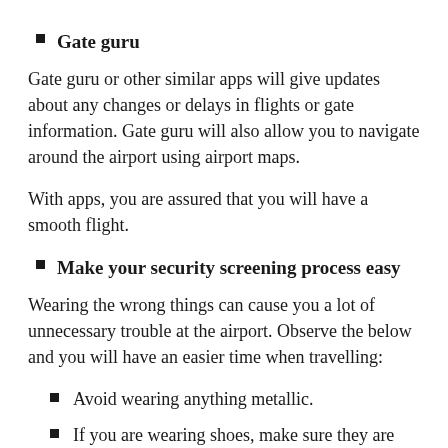Gate guru
Gate guru or other similar apps will give updates about any changes or delays in flights or gate information. Gate guru will also allow you to navigate around the airport using airport maps.
With apps, you are assured that you will have a smooth flight.
Make your security screening process easy
Wearing the wrong things can cause you a lot of unnecessary trouble at the airport. Observe the below and you will have an easier time when travelling:
Avoid wearing anything metallic.
If you are wearing shoes, make sure they are easy to